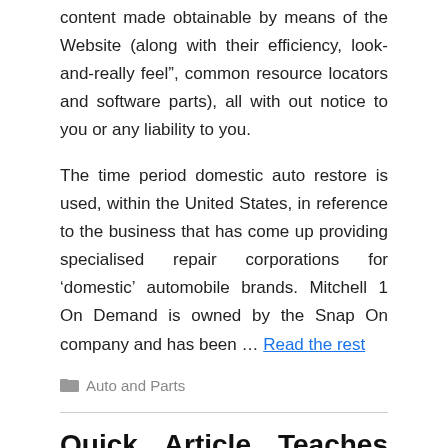content made obtainable by means of the Website (along with their efficiency, look-and-really feel”, common resource locators and software parts), all with out notice to you or any liability to you.
The time period domestic auto restore is used, within the United States, in reference to the business that has come up providing specialised repair corporations for ‘domestic’ automobile brands. Mitchell 1 On Demand is owned by the Snap On company and has been … Read the rest
Auto and Parts
Quick Article Teaches You The Ins and Outs of Auto Parts Store of Toyota Auto News And Today What You Have